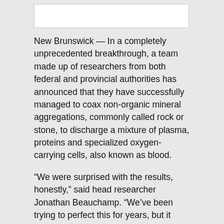[Figure (other): Empty white rectangular box at the top of the content area]
New Brunswick — In a completely unprecedented breakthrough, a team made up of researchers from both federal and provincial authorities has announced that they have successfully managed to coax non-organic mineral aggregations, commonly called rock or stone, to discharge a mixture of plasma, proteins and specialized oxygen-carrying cells, also known as blood.
“We were surprised with the results, honestly,” said head researcher Jonathan Beauchamp. “We’ve been trying to perfect this for years, but it wasn’t until an intern suggested placing the stone under increasingly intense pressure over a number of years that we finally succeeded.”